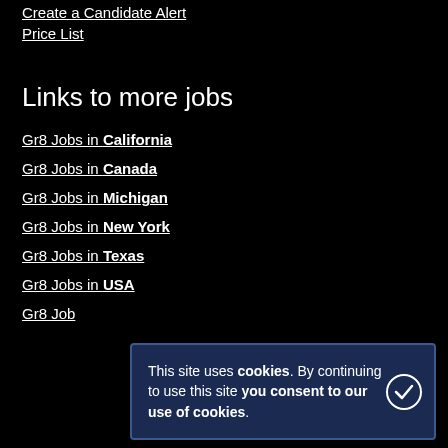Create a Candidate Alert
Price List
Links to more jobs
Gr8 Jobs in California
Gr8 Jobs in Canada
Gr8 Jobs in Michigan
Gr8 Jobs in New York
Gr8 Jobs in Texas
Gr8 Jobs in USA
Gr8 Job...
This site uses cookies. By continuing to use this site you consent to our use of cookies.